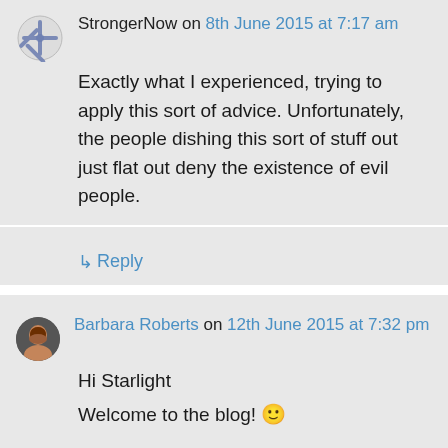StrongerNow on 8th June 2015 at 7:17 am
Exactly what I experienced, trying to apply this sort of advice. Unfortunately, the people dishing this sort of stuff out just flat out deny the existence of evil people.
↳ Reply
Barbara Roberts on 12th June 2015 at 7:32 pm
Hi Starlight
Welcome to the blog! 🙂

If you haven't already done so I suggest you read our New Users Info page for tips